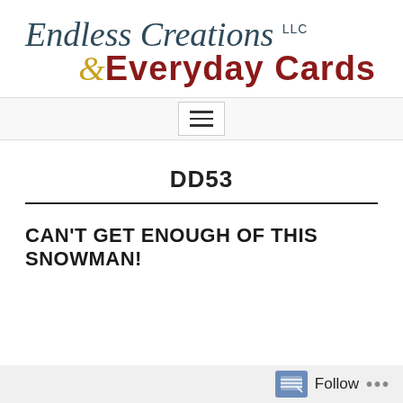[Figure (logo): Endless Creations LLC & Everyday Cards logo with stylized script and bold text]
[Figure (infographic): Navigation bar with hamburger menu icon]
DD53
CAN'T GET ENOUGH OF THIS SNOWMAN!
[Figure (infographic): Follow bar at bottom with follow icon and ellipsis]